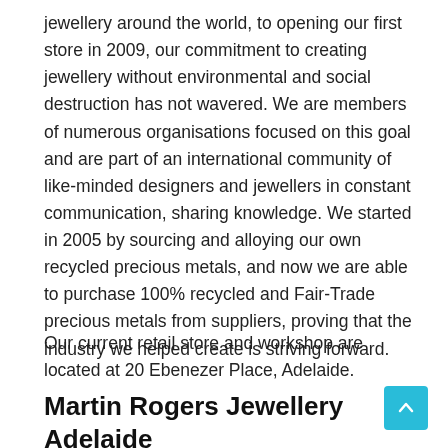jewellery around the world, to opening our first store in 2009, our commitment to creating jewellery without environmental and social destruction has not wavered. We are members of numerous organisations focused on this goal and are part of an international community of like-minded designers and jewellers in constant communication, sharing knowledge. We started in 2005 by sourcing and alloying our own recycled precious metals, and now we are able to purchase 100% recycled and Fair-Trade precious metals from suppliers, proving that the industry we helped create is striving forward.
Our current retail store and workshop are located at 20 Ebenezer Place, Adelaide.
Martin Rogers Jewellery Adelaide